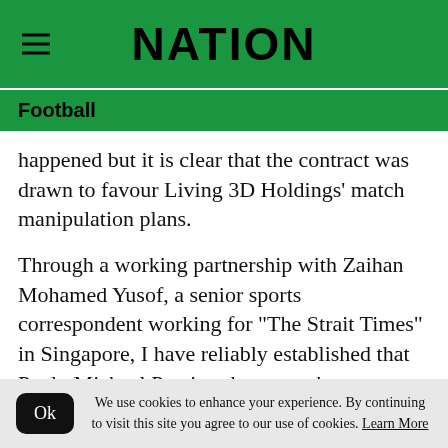NATION
Football
happened but it is clear that the contract was drawn to favour Living 3D Holdings’ match manipulation plans.
Through a working partnership with Zaihan Mohamed Yusof, a senior sports correspondent working for "The Strait Times" in Singapore, I have reliably established that Paolo Michael Pereira, the man who represented Living 3D Holdings in the
We use cookies to enhance your experience. By continuing to visit this site you agree to our use of cookies. Learn More